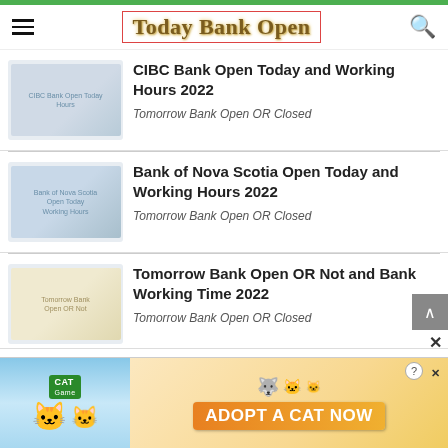Today Bank Open
CIBC Bank Open Today and Working Hours 2022
Tomorrow Bank Open OR Closed
Bank of Nova Scotia Open Today and Working Hours 2022
Tomorrow Bank Open OR Closed
Tomorrow Bank Open OR Not and Bank Working Time 2022
Tomorrow Bank Open OR Closed
[Figure (infographic): Mobile game advertisement banner: 'ADOPT A CAT NOW' with cartoon cat and wolf characters, green CAT logo, orange CTA button.]